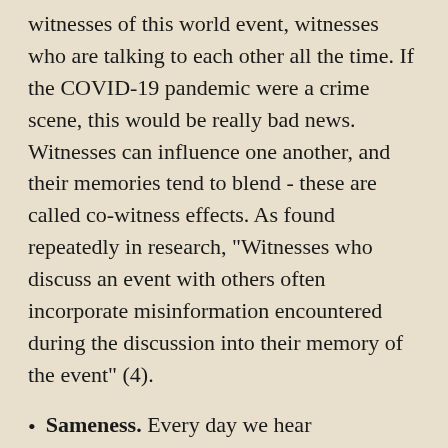witnesses of this world event, witnesses who are talking to each other all the time. If the COVID-19 pandemic were a crime scene, this would be really bad news. Witnesses can influence one another, and their memories tend to blend - these are called co-witness effects. As found repeatedly in research, "Witnesses who discuss an event with others often incorporate misinformation encountered during the discussion into their memory of the event" (4).
Sameness. Every day we hear unprecedented news or horrific medical stories. But after weeks or months of the same type of information, with a reduction in the amount of new and exciting things happening elsewhere, it gets difficult to separate this long stream of information into meaningful bits. Brains aren't made for sameness; they want separation and novelty. This means that whether it's another "how are you" conversation, another statistic, or another